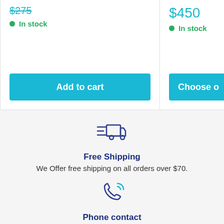$275 (strikethrough price, left card)
In stock
Add to cart
$450
In stock
Choose o...
[Figure (illustration): Fast delivery truck icon in dark blue outline style with speed lines]
Free Shipping
We Offer free shipping on all orders over $70.
[Figure (illustration): Phone handset with signal/call waves icon in dark blue outline style]
Phone contact